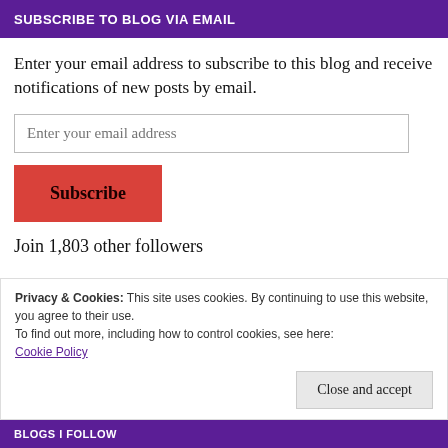SUBSCRIBE TO BLOG VIA EMAIL
Enter your email address to subscribe to this blog and receive notifications of new posts by email.
Enter your email address
Subscribe
Join 1,803 other followers
Privacy & Cookies: This site uses cookies. By continuing to use this website, you agree to their use.
To find out more, including how to control cookies, see here:
Cookie Policy
Close and accept
BLOGS I FOLLOW